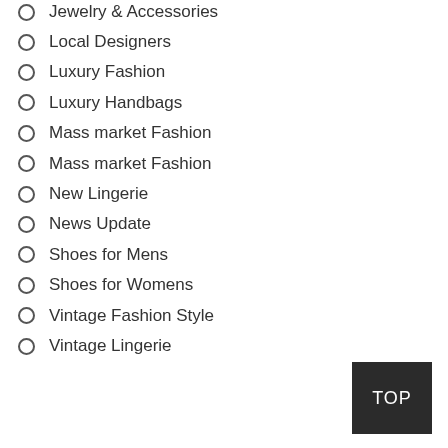Jewelry & Accessories
Local Designers
Luxury Fashion
Luxury Handbags
Mass market Fashion
Mass market Fashion
New Lingerie
News Update
Shoes for Mens
Shoes for Womens
Vintage Fashion Style
Vintage Lingerie